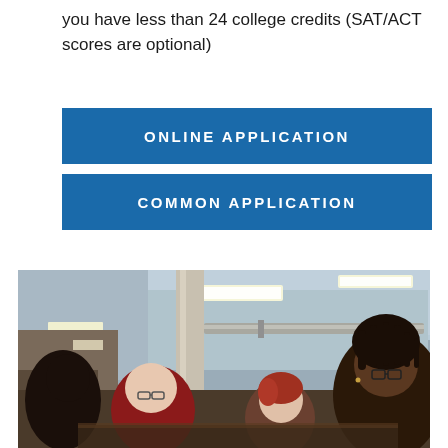you have less than 24 college credits (SAT/ACT scores are optional)
ONLINE APPLICATION
COMMON APPLICATION
[Figure (photo): Group of students gathered around a table in what appears to be a school or university building interior, looking at something together. The setting shows a modern interior with recessed ceiling lights, a concrete pillar, and ductwork visible. Multiple students of different backgrounds are visible.]